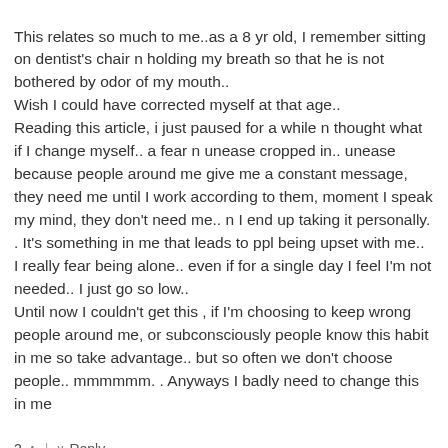This relates so much to me..as a 8 yr old, I remember sitting on dentist's chair n holding my breath so that he is not bothered by odor of my mouth..
Wish I could have corrected myself at that age..
Reading this article, i just paused for a while n thought what if I change myself.. a fear n unease cropped in.. unease because people around me give me a constant message, they need me until I work according to them, moment I speak my mind, they don't need me.. n I end up taking it personally. . It's something in me that leads to ppl being upset with me..
I really fear being alone.. even if for a single day I feel I'm not needed.. I just go so low..
Until now I couldn't get this , if I'm choosing to keep wrong people around me, or subconsciously people know this habit in me so take advantage.. but so often we don't choose people.. mmmmmm. . Anyways I badly need to change this in me
2 ^ | v Reply
Shivani → Shivani
7 years ago
Seriously, reading this article I'm slipping into a gloomy feeling.. few of my current relationships or probably all make